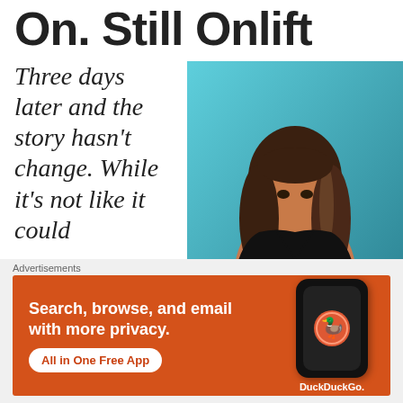On. Still Onlift
Three days later and the story hasn't change. While it's not like it could
[Figure (photo): Photo of a woman with long wavy highlighted hair wearing a black outfit, posed against a blue background]
Advertisements
[Figure (infographic): DuckDuckGo advertisement banner with orange background. Text: 'Search, browse, and email with more privacy. All in One Free App' with DuckDuckGo logo and phone graphic]